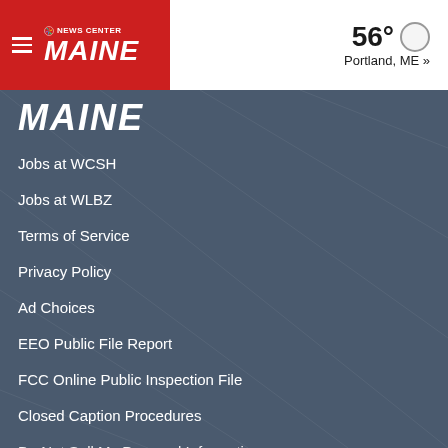[Figure (logo): News Center Maine logo with NBC peacock icon and hamburger menu on red background]
56° Portland, ME »
[Figure (logo): MAINE text logo in white italic bold on blue-grey background]
Jobs at WCSH
Jobs at WLBZ
Terms of Service
Privacy Policy
Ad Choices
EEO Public File Report
FCC Online Public Inspection File
Closed Caption Procedures
Do Not Sell My Personal Information
Download the NCM App